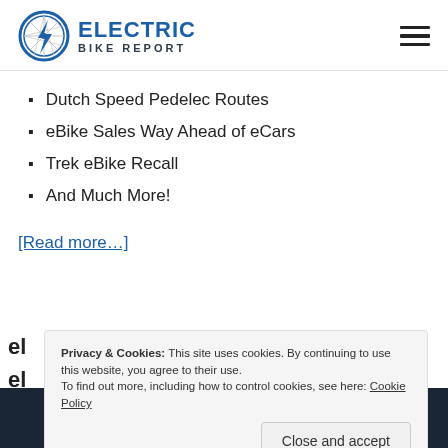ELECTRIC BIKE REPORT
Dutch Speed Pedelec Routes
eBike Sales Way Ahead of eCars
Trek eBike Recall
And Much More!
[Read more…]
Privacy & Cookies: This site uses cookies. By continuing to use this website, you agree to their use. To find out more, including how to control cookies, see here: Cookie Policy
Close and accept
POWERFUL ELECTRIC BIKES